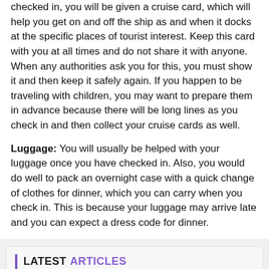checked in, you will be given a cruise card, which will help you get on and off the ship as and when it docks at the specific places of tourist interest. Keep this card with you at all times and do not share it with anyone. When any authorities ask you for this, you must show it and then keep it safely again. If you happen to be traveling with children, you may want to prepare them in advance because there will be long lines as you check in and then collect your cruise cards as well.
Luggage: You will usually be helped with your luggage once you have checked in. Also, you would do well to pack an overnight case with a quick change of clothes for dinner, which you can carry when you check in. This is because your luggage may arrive late and you can expect a dress code for dinner.
LATEST ARTICLES
[Figure (photo): Thumbnail image of colorful items, likely travel-related accessories or luggage items]
Things to know about power